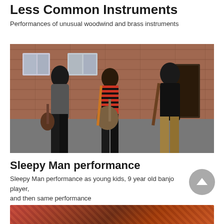Less Common Instruments
Performances of unusual woodwind and brass instruments
[Figure (photo): Three young men standing outdoors in front of a brick wall. The one on the left wears a dark grey t-shirt and holds a stringed instrument. The one in the middle wears a striped red and black shirt and carries a banjo. The one on the right wears a black jacket and has a guitar strap over his shoulder.]
Sleepy Man performance
Sleepy Man performance as young kids, 9 year old banjo player, and then same performance
[Figure (photo): Partial view of another photo at the bottom of the page, showing a colorful performance scene.]